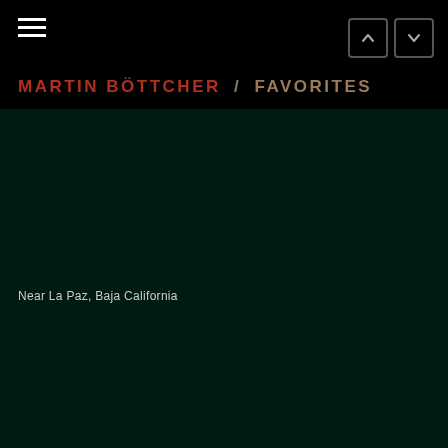MARTIN BÖTTCHER / FAVORITES
[Figure (photo): Dark teal/green background photograph area, nearly black, showing a landscape near La Paz, Baja California]
Near La Paz, Baja California